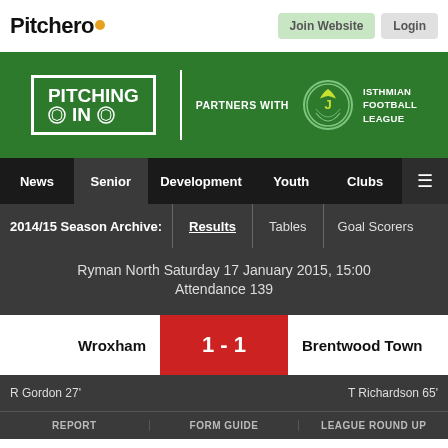[Figure (logo): Pitchero logo with orange dot]
[Figure (illustration): Pitching In - Partners with Isthmian Football League banner on green background]
News | Senior | Development | Youth | Clubs
2014/15 Season Archive: Results | Tables | Goal Scorers
Ryman North Saturday 17 January 2015, 15:00
Attendance 139
| Home | Score | Away |
| --- | --- | --- |
| Wroxham | 1 - 1 | Brentwood Town |
R Gordon 27'
T Richardson 65'
REPORT | FORM GUIDE | LEAGUE ROUND UP